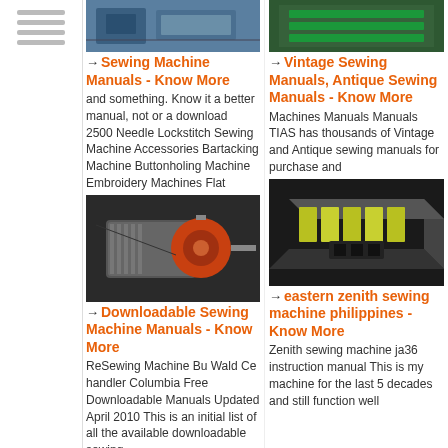[Figure (photo): Industrial factory/machinery photo - top left]
[Figure (photo): Industrial machinery with green elements - top right]
Sewing Machine Manuals - Know More
and something. Know it a better manual, not or a download 2500 Needle Lockstitch Sewing Machine Accessories Bartacking Machine Buttonholing Machine Embroidery Machines Flat
Vintage Sewing Manuals, Antique Sewing Manuals - Know More
Machines Manuals Manuals TIAS has thousands of Vintage and Antique sewing manuals for purchase and
[Figure (photo): Electric motor with red/orange rotor - bottom left]
[Figure (photo): 3D CAD model of industrial component with yellow/green parts - bottom right]
Downloadable Sewing Machine Manuals - Know More
ReSewing Machine Bu Wald Ce handler Columbia Free Downloadable Manuals Updated April 2010 This is an initial list of all the available downloadable sewing
eastern zenith sewing machine philippines - Know More
36 eastern zenith s and sewing. Zenith sewing machine ja36 instruction manual This is my machine for the last 5 decades and still function well